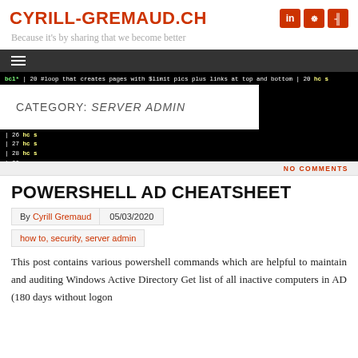CYRILL-GREMAUD.CH
Because it's by sharing that we become better
[Figure (screenshot): Terminal/code screenshot showing bash script lines with green and yellow colored text on black background]
CATEGORY: SERVER ADMIN
NO COMMENTS
POWERSHELL AD CHEATSHEET
By Cyrill Gremaud   05/03/2020
how to, security, server admin
This post contains various powershell commands which are helpful to maintain and auditing Windows Active Directory Get list of all inactive computers in AD (180 days without logon